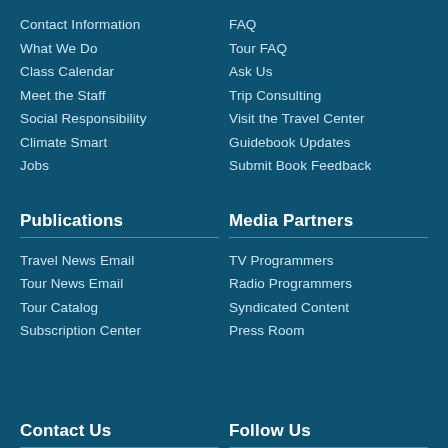Contact Information
What We Do
Class Calendar
Meet the Staff
Social Responsibility
Climate Smart
Jobs
FAQ
Tour FAQ
Ask Us
Trip Consulting
Visit the Travel Center
Guidebook Updates
Submit Book Feedback
Publications
Travel News Email
Tour News Email
Tour Catalog
Subscription Center
Media Partners
TV Programmers
Radio Programmers
Syndicated Content
Press Room
Contact Us
Follow Us